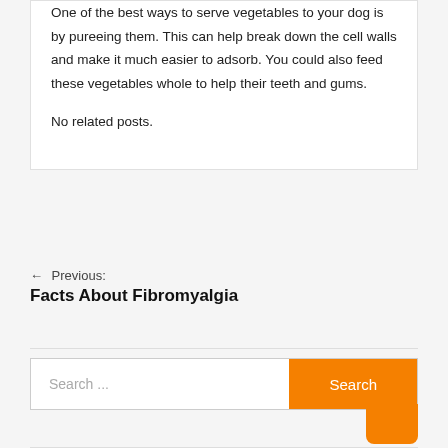One of the best ways to serve vegetables to your dog is by pureeing them. This can help break down the cell walls and make it much easier to adsorb. You could also feed these vegetables whole to help their teeth and gums.
No related posts.
← Previous: Facts About Fibromyalgia
Search ...